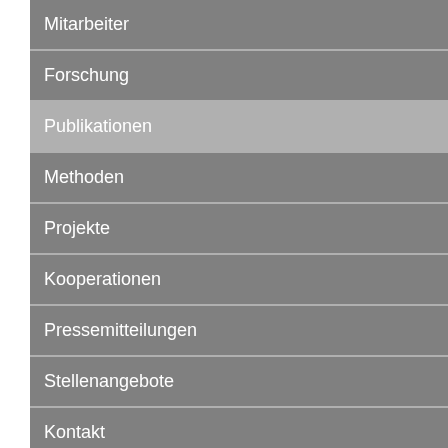Mitarbeiter
Forschung
Publikationen
Methoden
Projekte
Kooperationen
Pressemitteilungen
Stellenangebote
Kontakt